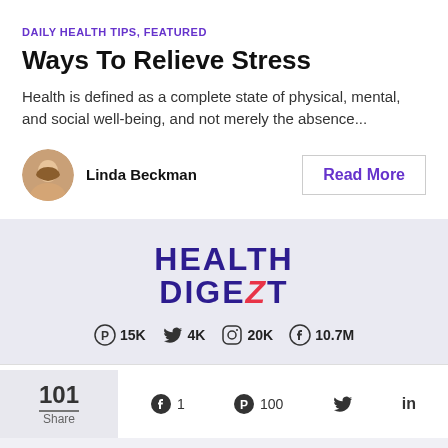DAILY HEALTH TIPS, FEATURED
Ways To Relieve Stress
Health is defined as a complete state of physical, mental, and social well-being, and not merely the absence...
Linda Beckman
Read More
[Figure (logo): Health Digezt logo with social stats: Pinterest 15K, Twitter 4K, Instagram 20K, Facebook 10.7M]
101 Share  1  100
[Figure (infographic): Bottom share bar with Facebook 1, Pinterest 100, Twitter, LinkedIn icons]